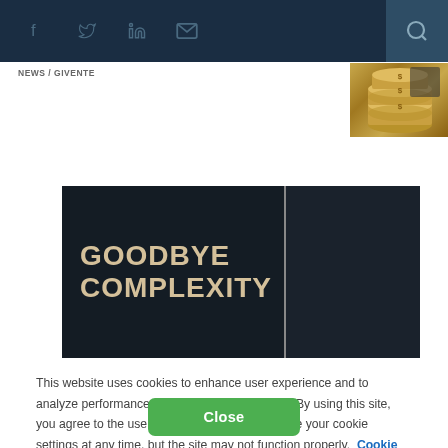Social media and search navigation bar
NEWS / GIVENTE
[Figure (photo): Stack of coins with dollar signs, financial imagery]
[Figure (illustration): Dark banner with bold text reading GOODBYE COMPLEXITY in cream/tan colored letters on a dark navy background, split into two panels]
This website uses cookies to enhance user experience and to analyze performance and traffic on our website. By using this site, you agree to the use of cookies. You may change your cookie settings at any time, but the site may not function properly.  Cookie Policy
Close